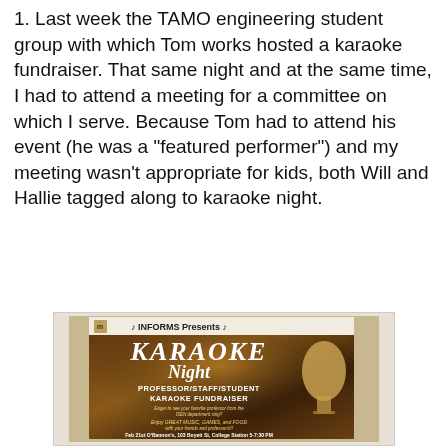1. Last week the TAMO engineering student group with which Tom works hosted a karaoke fundraiser. That same night and at the same time, I had to attend a meeting for a committee on which I serve. Because Tom had to attend his event (he was a "featured performer") and my meeting wasn't appropriate for kids, both Will and Hallie tagged along to karaoke night.
[Figure (photo): A photograph of a karaoke fundraiser event poster for INFORMS on an easel. The poster reads 'INFORMS Presents - KARAOKE Night' with 'PROFESSOR/STAFF/STUDENT KARAOKE FUNDRAISER', featuring photos of three professors, event details: Feb 21st, O'Bannon's, 103 Boyett St, College Station, 5-7:30 PM.]